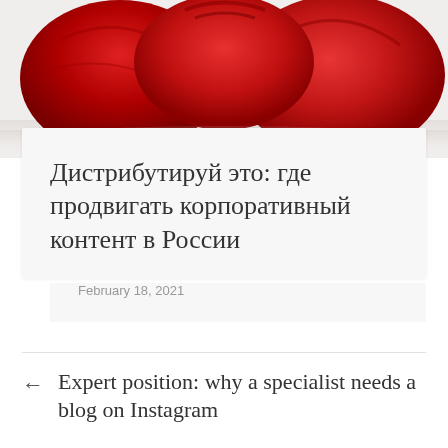[Figure (photo): Red fabric bags or pillows on a white background, photographed from above/front]
Дистрибутируй это: где продвигать корпоративный контент в России
February 18, 2021
Expert position: why a specialist needs a blog on Instagram